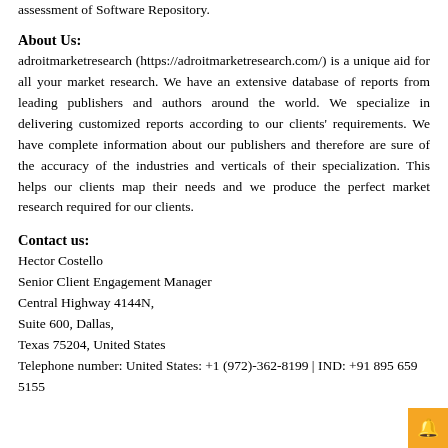assessment of Software Repository.
About Us:
adroitmarketresearch (https://adroitmarketresearch.com/) is a unique aid for all your market research. We have an extensive database of reports from leading publishers and authors around the world. We specialize in delivering customized reports according to our clients' requirements. We have complete information about our publishers and therefore are sure of the accuracy of the industries and verticals of their specialization. This helps our clients map their needs and we produce the perfect market research required for our clients.
Contact us:
Hector Costello
Senior Client Engagement Manager
Central Highway 4144N,
Suite 600, Dallas,
Texas 75204, United States
Telephone number: United States: +1 (972)-362-8199 | IND: +91 895 659 5155